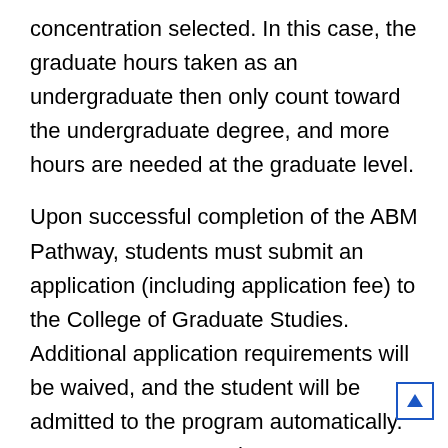concentration selected. In this case, the graduate hours taken as an undergraduate then only count toward the undergraduate degree, and more hours are needed at the graduate level.
Upon successful completion of the ABM Pathway, students must submit an application (including application fee) to the College of Graduate Studies. Additional application requirements will be waived, and the student will be admitted to the program automatically. Upon acceptance to the MTSU graduate program, students will be considered graduate students and will pay graduate tuition for all remaining graduate courses.
ABM Pathways currently accepting applicants:
M.B.A. Business Administration (B.B.A., Business Administration, B.B.A., Management)